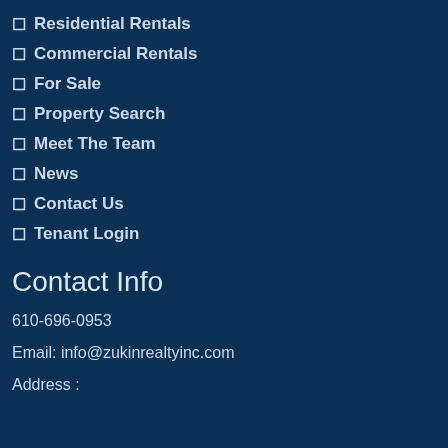Residential Rentals
Commercial Rentals
For Sale
Property Search
Meet The Team
News
Contact Us
Tenant Login
Contact Info
610-696-0953
Email: info@zukinrealtyinc.com
Address :